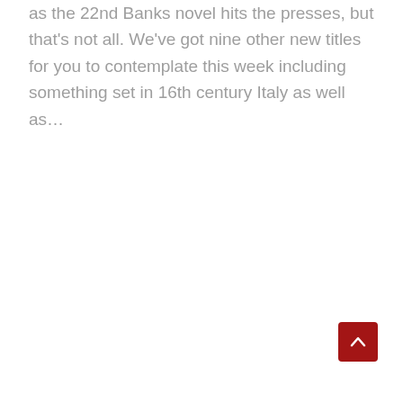as the 22nd Banks novel hits the presses, but that's not all. We've got nine other new titles for you to contemplate this week including something set in 16th century Italy as well as…
[Figure (other): Dark red square button with a white upward-pointing chevron/caret icon, positioned in the bottom-right corner of the page.]